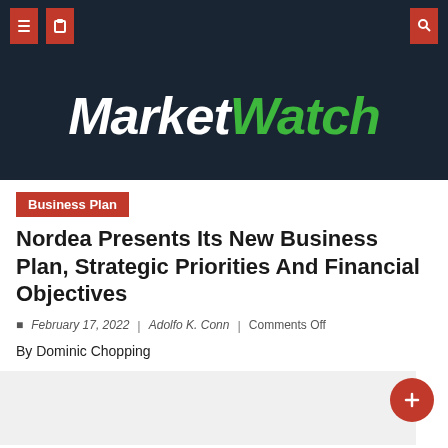[Figure (screenshot): MarketWatch website navigation bar with dark navy background and red icon buttons]
[Figure (logo): MarketWatch logo — italic bold white 'Market' and green 'Watch' on dark background]
Business Plan
Nordea Presents Its New Business Plan, Strategic Priorities And Financial Objectives
February 17, 2022 | Adolfo K. Conn | Comments Off
By Dominic Chopping
[Figure (other): Gray advertisement/placeholder block]
Nordea Bank Abp on Thursday presented an updated business plan, strategic priorities and financial...